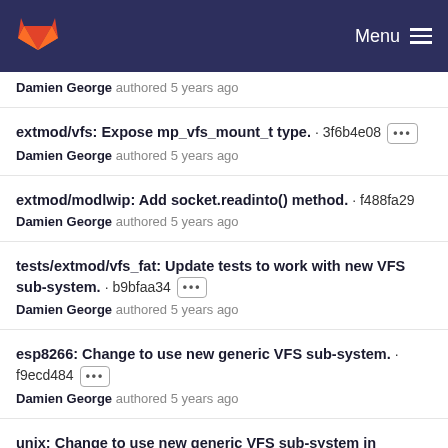GitLab — Menu
Damien George authored 5 years ago
extmod/vfs: Expose mp_vfs_mount_t type. · 3f6b4e08 [...] Damien George authored 5 years ago
extmod/modlwip: Add socket.readinto() method. · f488fa29 Damien George authored 5 years ago
tests/extmod/vfs_fat: Update tests to work with new VFS sub-system. · b9bfaa34 [...] Damien George authored 5 years ago
esp8266: Change to use new generic VFS sub-system. · f9ecd484 [...] Damien George authored 5 years ago
unix: Change to use new generic VFS sub-system in coverage build. · f1e04148 [...] Damien George authored 5 years ago